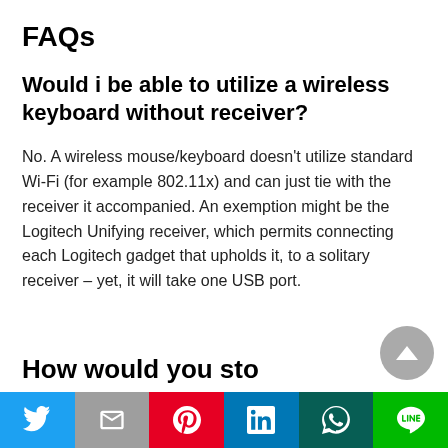FAQs
Would i be able to utilize a wireless keyboard without receiver?
No. A wireless mouse/keyboard doesn't utilize standard Wi-Fi (for example 802.11x) and can just tie with the receiver it accompanied. An exemption might be the Logitech Unifying receiver, which permits connecting each Logitech gadget that upholds it, to a solitary receiver – yet, it will take one USB port.